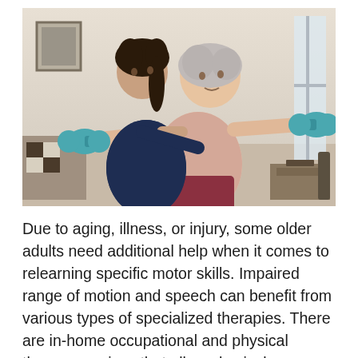[Figure (photo): A young female physical therapist in a dark navy polo shirt stands behind an older woman with gray hair wearing a pink top and dark red pants. The therapist is supporting and guiding the older woman's arms as she holds teal/turquoise dumbbells extended outward to her sides. They appear to be in a home setting with a window, furniture, and a framed picture visible in the background.]
Due to aging, illness, or injury, some older adults need additional help when it comes to relearning specific motor skills. Impaired range of motion and speech can benefit from various types of specialized therapies. There are in-home occupational and physical therapy services that allow physical therapists to visit older